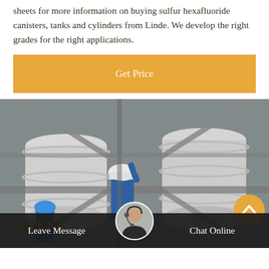sheets for more information on buying sulfur hexafluoride canisters, tanks and cylinders from Linde. We develop the right grades for the right applications.
[Figure (other): Orange 'Get Price' button]
[Figure (photo): Industrial facility showing large white cylindrical tanks/vessels with workers in blue coveralls and hard hats performing maintenance or inspection work. Scaffolding and pipes visible.]
Leave Message   Chat Online